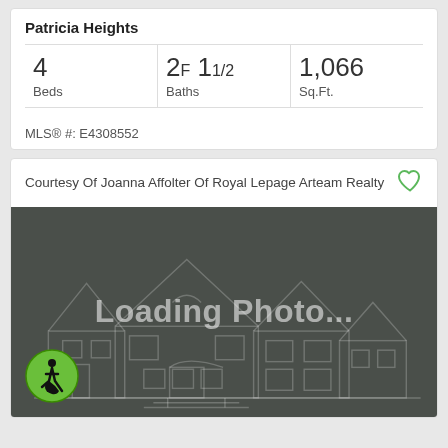Patricia Heights
| Beds | Baths | Sq.Ft. |
| --- | --- | --- |
| 4 | 2F 11/2 | 1,066 |
MLS® #: E4308552
Courtesy Of Joanna Affolter Of Royal Lepage Arteam Realty
[Figure (illustration): Loading photo placeholder with house outline silhouette on dark background and 'Loading Photo...' text overlay, with accessibility icon badge in bottom left]